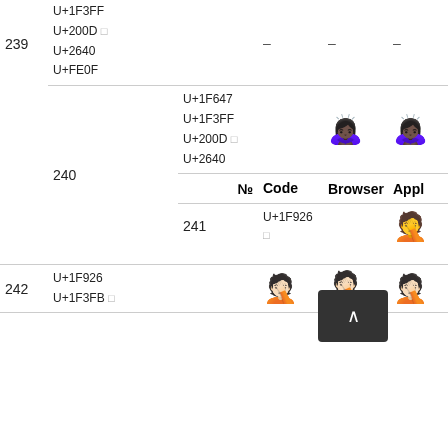| № | Code | Browser | Appl | Goog | Twtr |
| --- | --- | --- | --- | --- | --- |
| 239 | U+1F3FF
U+200D □
U+2640
U+FE0F |  | - | - | - |
| 240 | U+1F647
U+1F3FF
U+200D □
U+2640 |  | 🙇🏿‍♀ | 🙇🏿‍♀ | 🙇🏿‍♀ |
| № | Code | Browser | Appl | Goog | Twtr |
| 241 | U+1F926 □ |  | 🤦 | 🤦 | 🤦 |
| 242 | U+1F926
U+1F3FB □ |  | 🤦🏻 | 🤦🏻 | 🤦🏻 |